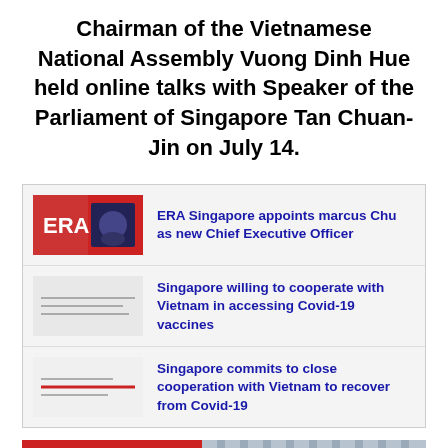Chairman of the Vietnamese National Assembly Vuong Dinh Hue held online talks with Speaker of the Parliament of Singapore Tan Chuan-Jin on July 14.
ERA Singapore appoints marcus Chu as new Chief Executive Officer
Singapore willing to cooperate with Vietnam in accessing Covid-19 vaccines
Singapore commits to close cooperation with Vietnam to recover from Covid-19
[Figure (photo): Photo showing Vietnamese and Singapore flags side by side]